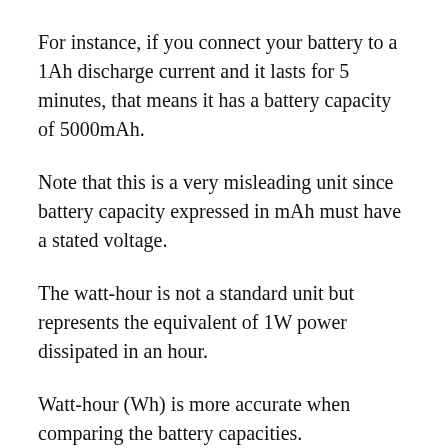For instance, if you connect your battery to a 1Ah discharge current and it lasts for 5 minutes, that means it has a battery capacity of 5000mAh.
Note that this is a very misleading unit since battery capacity expressed in mAh must have a stated voltage.
The watt-hour is not a standard unit but represents the equivalent of 1W power dissipated in an hour.
Watt-hour (Wh) is more accurate when comparing the battery capacities.
You can compare batteries using watts-hour (Wh),